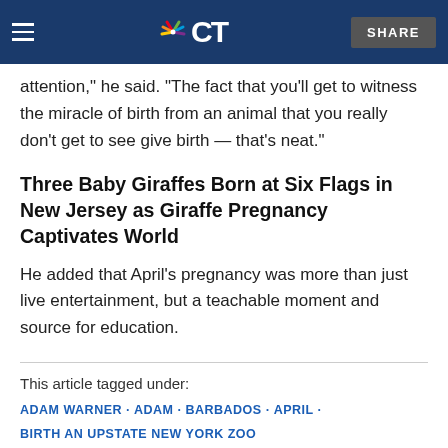NBC CT
attention," he said. "The fact that you'll get to witness the miracle of birth from an animal that you really don't get to see give birth — that's neat."
Three Baby Giraffes Born at Six Flags in New Jersey as Giraffe Pregnancy Captivates World
He added that April's pregnancy was more than just live entertainment, but a teachable moment and source for education.
This article tagged under:
ADAM WARNER · ADAM · BARBADOS · APRIL · BIRTH AN UPSTATE NEW YORK ZOO